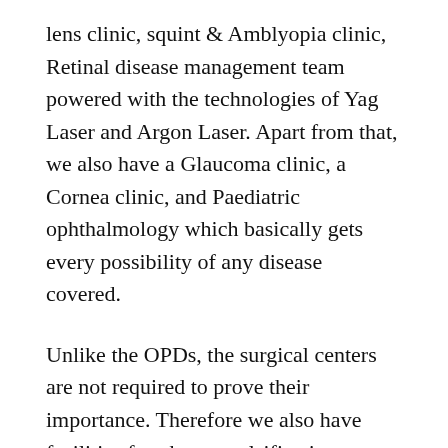lens clinic, squint & Amblyopia clinic, Retinal disease management team powered with the technologies of Yag Laser and Argon Laser. Apart from that, we also have a Glaucoma clinic, a Cornea clinic, and Paediatric ophthalmology which basically gets every possibility of any disease covered.
Unlike the OPDs, the surgical centers are not required to prove their importance. Therefore we also have facilities for phacoemulsification cataract surgery, squint surgery, vitreoretinal surgery, glaucoma surgery, Keratoplasty, Lid & cosmetic surgeries, once surgery for eye & adnexal, DCT, DCR, Chalazion incision & curettage, ocular trauma management. Not